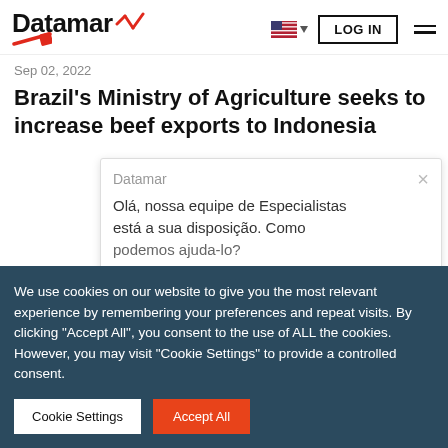Datamar | LOG IN
Sep 02, 2022
Brazil's Ministry of Agriculture seeks to increase beef exports to Indonesia
[Figure (screenshot): Datamar chat popup with message: Olá, nossa equipe de Especialistas está a sua disposição. Como podemos ajuda-lo?]
We use cookies on our website to give you the most relevant experience by remembering your preferences and repeat visits. By clicking "Accept All", you consent to the use of ALL the cookies. However, you may visit "Cookie Settings" to provide a controlled consent.
Cookie Settings | Accept All